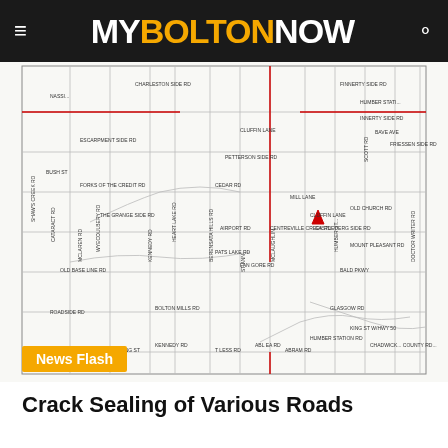MY BOLTON NOW
[Figure (map): Road map showing various roads in Bolton area with red highlighted roads for crack sealing work. Roads labeled include Charleston Side Rd, Kennedy Rd, Heart Lake Rd, Finnerty Side Rd, Humber Station Rd, Cataract Rd, Escarpment Side Rd, Petterson Side Rd, Bush St, Forks of the Credit Rd, Cedar Rd, Mill Lane, Old Church Rd, The Grange Side Rd, Airport Rd, Centreville Creek Rd, Castlederg Side Rd, Old Base Line Rd, Bolton Mills Rd, Pats Lake Rd, Fan Gore Rd, Castlederg Side Rd, Roadside Rd, King St, Kennedy Rd, Hwy 50, Abram Rd, Humber Station Rd, Glasgow Rd, Bald Pkwy, King St NW, with a red triangle marker near Old Church Rd.]
News Flash
Crack Sealing of Various Roads
[Figure (photo): Photo of a car (silver sedan) in a port or shipping yard with Maersk shipping containers visible in the background, including a large blue spherical water tower with Maersk branding.]